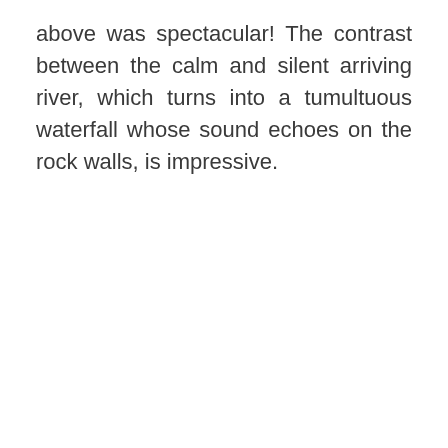above was spectacular! The contrast between the calm and silent arriving river, which turns into a tumultuous waterfall whose sound echoes on the rock walls, is impressive.